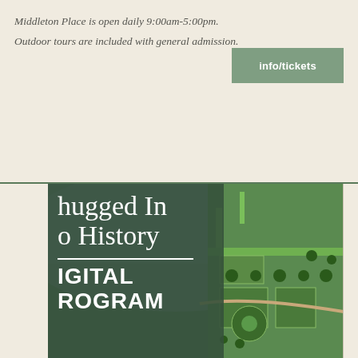Middleton Place is open daily 9:00am-5:00pm.
Outdoor tours are included with general admission.
[Figure (other): Green button/link labeled 'info/tickets']
[Figure (other): Aerial garden map overlaid with dark green panel showing partial text: 'hugged In to History' above a horizontal line, then 'IGITAL ROGRAM' — part of 'Plugged Into History DIGITAL PROGRAM' — a promotional banner for a digital program at Middleton Place.]